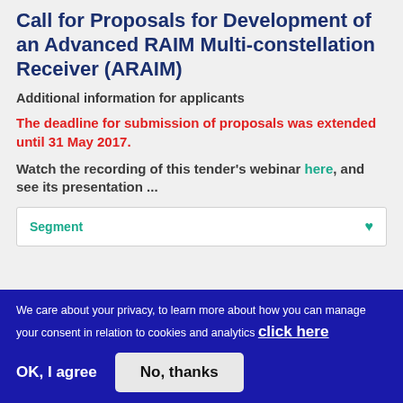Call for Proposals for Development of an Advanced RAIM Multi-constellation Receiver (ARAIM)
Additional information for applicants
The deadline for submission of proposals was extended until 31 May 2017.
Watch the recording of this tender's webinar here, and see its presentation ...
Segment
We care about your privacy, to learn more about how you can manage your consent in relation to cookies and analytics click here
OK, I agree
No, thanks